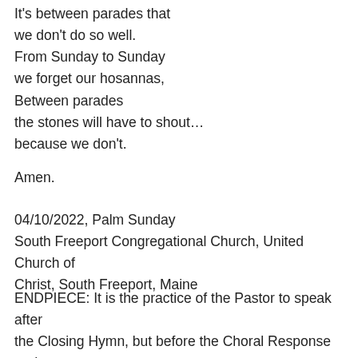It's between parades that
we don't do so well.
From Sunday to Sunday
we forget our hosannas,
Between parades
the stones will have to shout…
because we don't.
Amen.
04/10/2022, Palm Sunday
South Freeport Congregational Church, United Church of Christ, South Freeport, Maine
ENDPIECE: It is the practice of the Pastor to speak after the Closing Hymn, but before the Choral Response and Benediction. This is an précis of what was said: "Long...